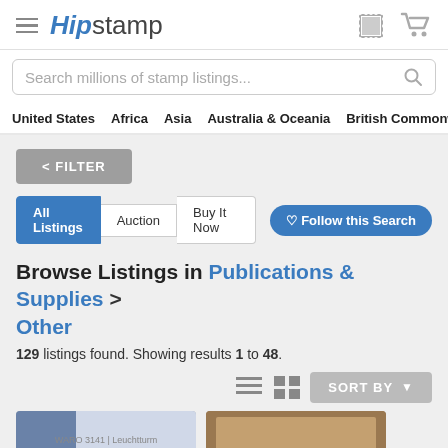HipStamp
Search millions of stamp listings...
United States  Africa  Asia  Australia & Oceania  British Commonwealth  Cana
< FILTER
All Listings  Auction  Buy It Now  ♡ Follow this Search
Browse Listings in Publications & Supplies > Other
129 listings found. Showing results 1 to 48.
SORT BY
[Figure (screenshot): Two product thumbnail images at the bottom of the page]